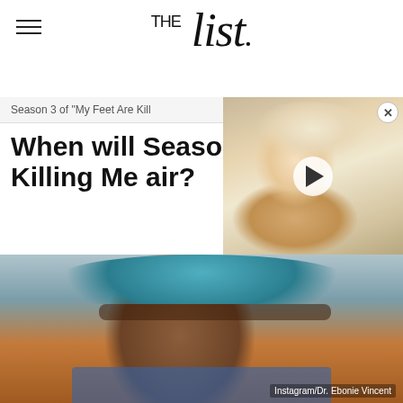THE list
Season 3 of "My Feet Are Kill
When will Season 3 of My Feet Are Killing Me air?
[Figure (photo): Video thumbnail overlay showing a blonde woman smiling, with a play button. Close/X button in top right corner.]
[Figure (photo): Smiling Black female doctor wearing blue scrub cap and glasses, in blue scrubs. Instagram credit to Dr. Ebonie Vincent.]
Instagram/Dr. Ebonie Vincent